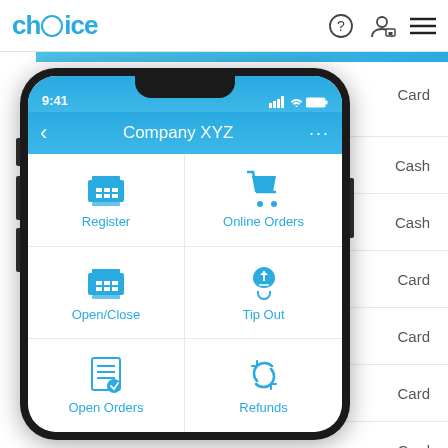[Figure (screenshot): Choice app interface showing a mobile app menu with a smartphone mockup in the foreground displaying 'Company XYZ' with menu options: Register, Online Orders, Open/Close, Tip Out, Open Orders, Refunds. The background shows a transaction list with card/cash payment types and a card number 1236549878532 dated 10/29/2019. The top header shows the 'choice' logo with navigation icons.]